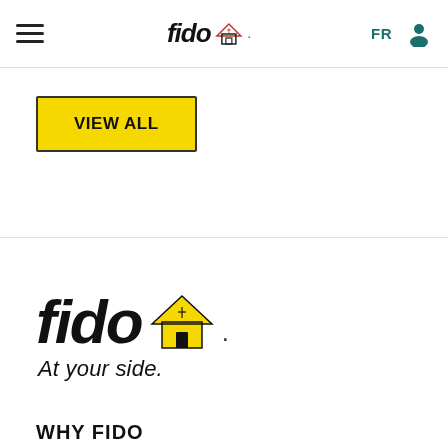fido | FR | user icon
[Figure (logo): Fido logo in navigation bar with house icon]
VIEW ALL
[Figure (logo): Fido large logo with yellow house icon and tagline 'At your side.']
WHY FIDO